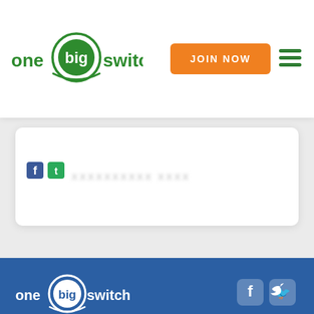[Figure (logo): One Big Switch logo in header - green circle with 'big' text, flanked by 'one' and 'switch' in green]
[Figure (other): Orange JOIN NOW button in header navigation]
[Figure (other): Green hamburger menu icon (three horizontal lines) in header]
[Figure (other): Partial white card visible with Facebook and Twitter social icons and blurred text]
[Figure (logo): One Big Switch logo in footer - white version on blue background]
[Figure (other): Facebook and Twitter social media icons in footer, white on blue rounded squares]
WHY ONE BIG SWITCH?
JOBS
HOW IT WORKS
CONTACT US
FAQ
NEWS